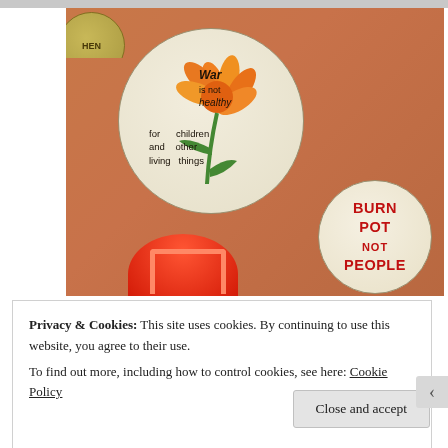[Figure (photo): Photo of protest buttons/pins on an orange background. A large round button reads 'War is not healthy for children and other living things' with a flower design. A smaller button reads 'BURN POT NOT PEOPLE'. A partial red circular button is visible at the bottom left.]
Privacy & Cookies: This site uses cookies. By continuing to use this website, you agree to their use.
To find out more, including how to control cookies, see here: Cookie Policy
Close and accept